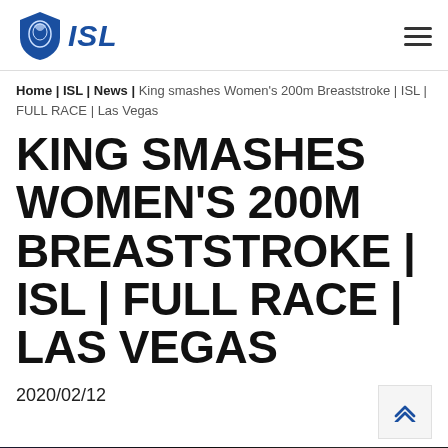ISL (logo)
Home | ISL | News | King smashes Women's 200m Breaststroke | ISL | FULL RACE | Las Vegas
KING SMASHES WOMEN'S 200M BREASTSTROKE | ISL | FULL RACE | LAS VEGAS
2020/02/12
[Figure (photo): Dark photo of swimming race at ISL event in Las Vegas]